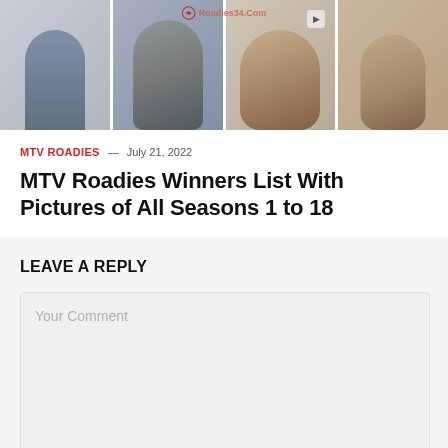[Figure (photo): Hero banner with multiple panels showing silhouettes and faces of TV show contestants/winners, with a watermark reading Roadies34.Com]
MTV ROADIES — July 21, 2022
MTV Roadies Winners List With Pictures of All Seasons 1 to 18
LEAVE A REPLY
Your Comment